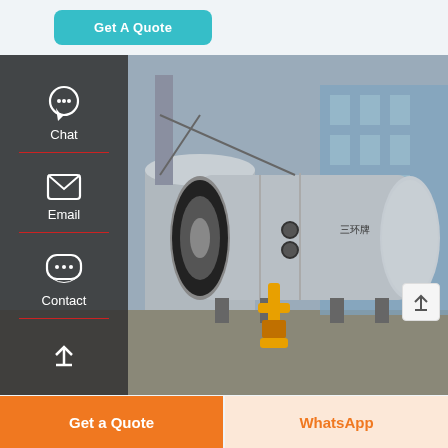[Figure (other): Button labeled 'Get A Quote' with teal/cyan rounded rectangle background]
[Figure (photo): Industrial boiler or heat exchanger unit outdoors at a factory yard, large cylindrical vessel in dark/silver color with yellow piping components]
Thermal Design Of Economizer For Waste Heat Recovery
[Figure (other): Bottom CTA bar with 'Get a Quote' orange button and 'WhatsApp' button]